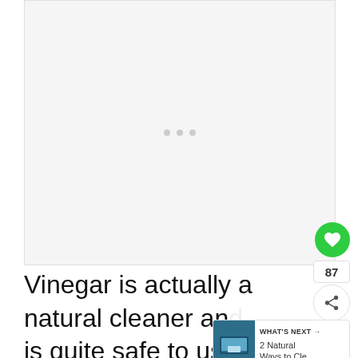[Figure (photo): Loading placeholder image area with three gray dots indicating an image is loading]
[Figure (infographic): UI overlay elements: green heart/favorite button showing count 87, share button, and a 'What's Next' card showing '2 Natural Ways to Cle...' with a pool thumbnail]
Vinegar is actually a natural cleaner and is quite safe to use not only on y... but throughout your home. All you have to